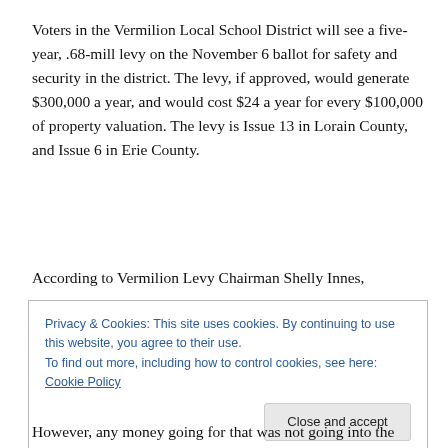Voters in the Vermilion Local School District will see a five-year, .68-mill levy on the November 6 ballot for safety and security in the district. The levy, if approved, would generate $300,000 a year, and would cost $24 a year for every $100,000 of property valuation. The levy is Issue 13 in Lorain County, and Issue 6 in Erie County.
According to Vermilion Levy Chairman Shelly Innes,
Privacy & Cookies: This site uses cookies. By continuing to use this website, you agree to their use.
To find out more, including how to control cookies, see here: Cookie Policy
[Close and accept]
However, any money going for that was not going into the